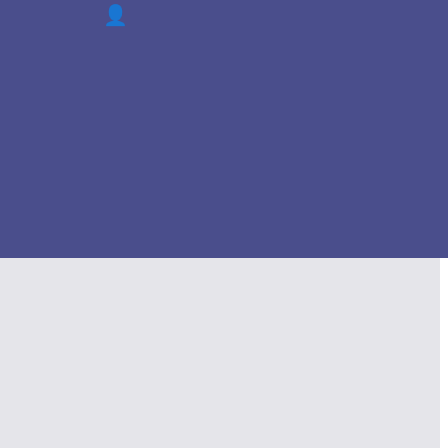[Figure (screenshot): Purple website header banner with small black figure icon]
Calendar View
| << January | February 2023 | March >> |
| << 2022 | Jan Feb Mar Apr May Jun Jul Aug Sep Oct Nov Dec | 2024 >> |
All (dropdown)
View Events List
Current Month
| S | M | T | W | T | F | S |
| --- | --- | --- | --- | --- | --- | --- |
|  |  |  | 1 | 2 | 3 | 4 |
Main Menu
Home
Concerts & Co...
Business Netw...
Dances
Partners
Links
Members
Contact Us
Downloads
Calendar
August 20...
No events
| S | M | T |
| --- | --- | --- |
|  | 1 | 2 |
| 7 | 8 | 9 |
| 14 | 15 | 16 |
| 21 | 22 | 23 |